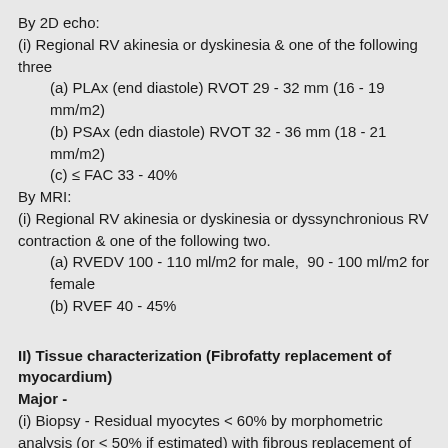By 2D echo:
(i) Regional RV akinesia or dyskinesia & one of the following three
(a) PLAx (end diastole) RVOT 29 - 32 mm (16 - 19 mm/m2)
(b) PSAx (edn diastole) RVOT 32 - 36 mm (18 - 21 mm/m2)
(c) ≤ FAC 33 - 40%
By MRI:
(i) Regional RV akinesia or dyskinesia or dyssynchronious RV contraction & one of the following two.
(a) RVEDV 100 - 110 ml/m2 for male,  90 - 100 ml/m2 for female
(b) RVEF 40 - 45%
II) Tissue characterization (Fibrofatty replacement of myocardium)
Major -
(i) Biopsy - Residual myocytes < 60% by morphometric analysis (or < 50% if estimated) with fibrous replacement of RV free wall myocardium (with or without fatty replacement)